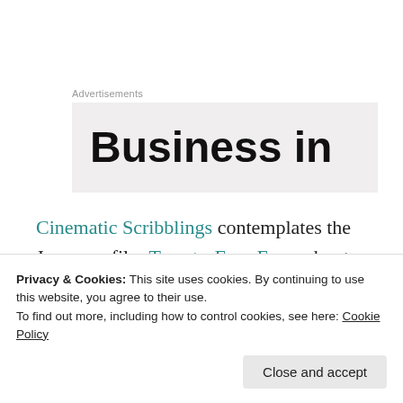Advertisements
[Figure (other): Advertisement banner showing large bold text 'Business in' on a light gray background]
Cinematic Scribblings contemplates the Japanese film Twenty-Four Eyes, about an idealistic teacher whose students are destined to be swept up by World War II.
Privacy & Cookies: This site uses cookies. By continuing to use this website, you agree to their use.
To find out more, including how to control cookies, see here: Cookie Policy